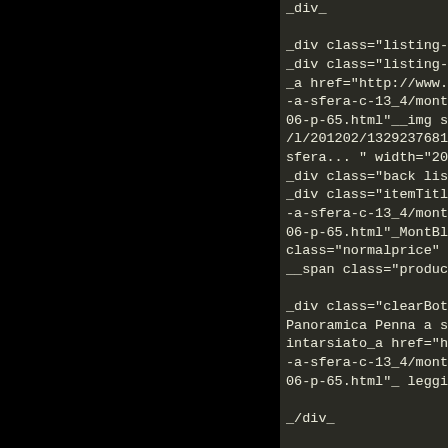[Figure (screenshot): Left half of page is solid black, representing a dark/blank area of a screenshot.]
_div_

_div class="listing-wrapper group"_
_div class="listing-left back"_
_a href="http://www.montblancpensons-a-sfera-c-13_4/montblanc-boheme-dou06-p-65.html"__img src="http://www.mo/l/201202/13292376810.jpg" alt="MontBsfera... " width="200" height="133" /__/a
_div class="back listing-right"_
_div class="itemTitle"__a href="http://ww-a-sfera-c-13_4/montblanc-boheme-dou06-p-65.html"_MontBlanc Boheme Douclass="normalprice" &euro;297.00 _/sp__span class="productPriceDiscount"_

_div class="clearBoth listings-descriptio
Panoramica Penna a sfera con meccanintarsiato_a href="http://www.montblanc-a-sfera-c-13_4/montblanc-boheme-dou06-p-65.html"_ leggi ..._/a_ _/div_

_/div_

_/div_



_div class="prod-list-wrap group"_
_div id="newProductsDefaultListingBott
_ul class="pagination" role="navigation"
_li class="current active"_1_/li_
_li__a href="http://www.montblancpens